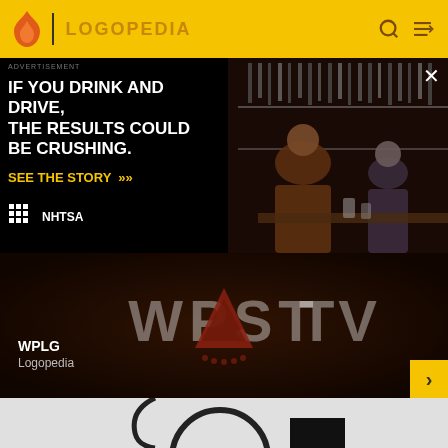LOGOPEDIA
[Figure (screenshot): NHTSA advertisement banner: black background with white bold text 'IF YOU DRINK AND DRIVE, THE RESULTS COULD BE CRUSHING.' with yellow CTA 'SEE THE STORY >>' and NHTSA logo, alongside photo of two men at a bar]
[Figure (screenshot): WPST TV logo on dark background with text overlay showing WPLG Logopedia label and a yellow next arrow button]
[Figure (screenshot): Partial bottom image showing a white/grey background with partial dark circular logo element]